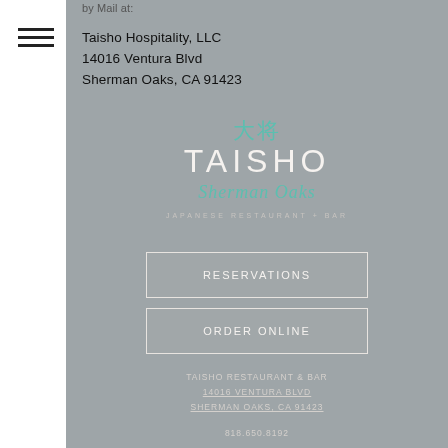[Figure (other): Hamburger menu icon (three horizontal lines)]
Taisho Hospitality, LLC
14016 Ventura Blvd
Sherman Oaks, CA 91423
[Figure (logo): Taisho Sherman Oaks Japanese Restaurant & Bar logo with Chinese characters 大将, stylized TAISHO text, cursive Sherman Oaks script, and JAPANESE RESTAURANT + BAR tagline]
RESERVATIONS
ORDER ONLINE
TAISHO RESTAURANT & BAR
14016 VENTURA BLVD
SHERMAN OAKS, CA 91423
818.650.8192